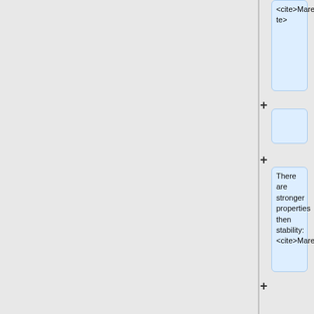<cite>Marek1974:StableSets</cite>
+
There are stronger properties then stability: <cite>Marek1974:StableSets</cite>
* (The first ordinal that is not Δ¹_n is called δ_n.)<sup>in section 0</sup>
* For n ≥ 2 <sup>Theorem 4.16</sup>
**